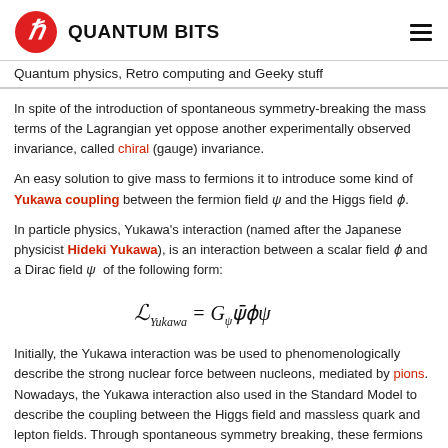QUANTUM BITS
Quantum physics, Retro computing and Geeky stuff
In spite of the introduction of spontaneous symmetry-breaking the mass terms of the Lagrangian yet oppose another experimentally observed invariance, called chiral (gauge) invariance.
An easy solution to give mass to fermions it to introduce some kind of Yukawa coupling between the fermion field ψ and the Higgs field ϕ.
In particle physics, Yukawa's interaction (named after the Japanese physicist Hideki Yukawa), is an interaction between a scalar field ϕ and a Dirac field ψ of the following form:
Initially, the Yukawa interaction was be used to phenomenologically describe the strong nuclear force between nucleons, mediated by pions. Nowadays, the Yukawa interaction also used in the Standard Model to describe the coupling between the Higgs field and massless quark and lepton fields. Through spontaneous symmetry breaking, these fermions acquire a mass proportional to the vacuum expectation value of the Higgs field. Adding this